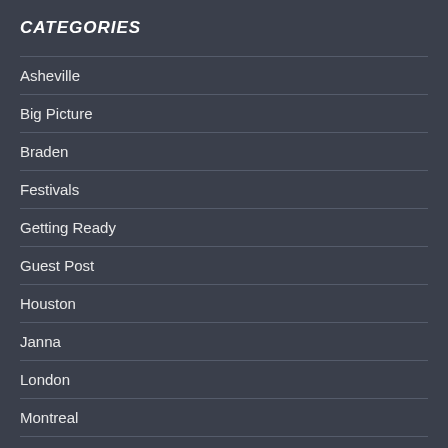CATEGORIES
Asheville
Big Picture
Braden
Festivals
Getting Ready
Guest Post
Houston
Janna
London
Montreal